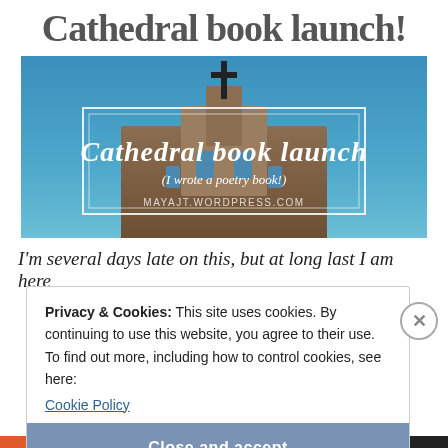Cathedral book launch!
[Figure (photo): Banner image showing a cathedral with a cross against a blue sky, with white script text reading 'Cathedral book launch' and subtitle '(I wrote a poetry book!)' and URL 'MAYAJT.WORDPRESS.COM' in a white double-border rectangle overlay.]
I'm several days late on this, but at long last I am here
Privacy & Cookies: This site uses cookies. By continuing to use this website, you agree to their use.
To find out more, including how to control cookies, see here:
Cookie Policy
Close and accept